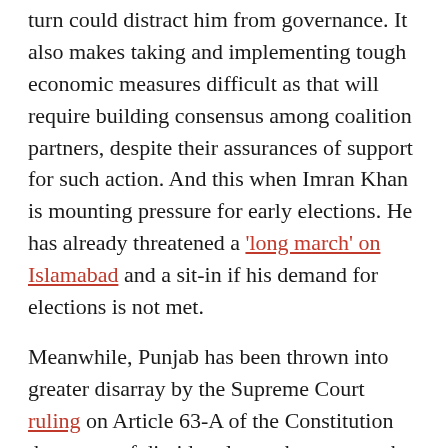turn could distract him from governance. It also makes taking and implementing tough economic measures difficult as that will require building consensus among coalition partners, despite their assurances of support for such action. And this when Imran Khan is mounting pressure for early elections. He has already threatened a 'long march' on Islamabad and a sit-in if his demand for elections is not met.
Meanwhile, Punjab has been thrown into greater disarray by the Supreme Court ruling on Article 63-A of the Constitution that votes of dissident lawmakers cannot be counted if cast in violation of their party position. The Election Commission followed with the decision to de-seat the defecting legislators who had voted for Hamza Shehbaz as chief minister. This has upended Hamza's government and may usher in a period of instability.
PTI has already moved the Lahore High Court for his removal.